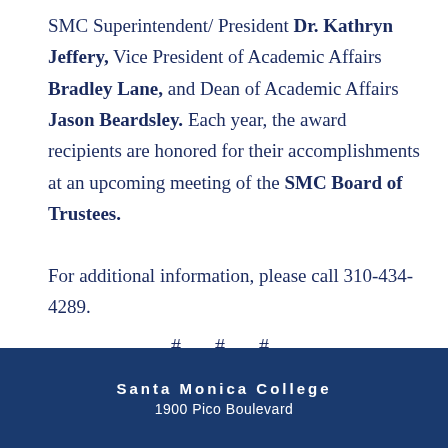SMC Superintendent/ President Dr. Kathryn Jeffery, Vice President of Academic Affairs Bradley Lane, and Dean of Academic Affairs Jason Beardsley. Each year, the award recipients are honored for their accomplishments at an upcoming meeting of the SMC Board of Trustees.
For additional information, please call 310-434-4289.
# # #
Santa Monica College
1900 Pico Boulevard